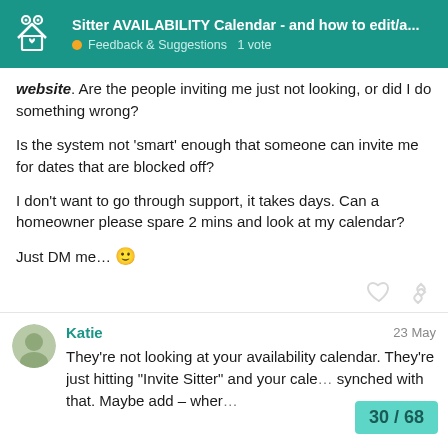Sitter AVAILABILITY Calendar - and how to edit/a... | Feedback & Suggestions | 1 vote
website. Are the people inviting me just not looking, or did I do something wrong?

Is the system not ‘smart’ enough that someone can invite me for dates that are blocked off?

I don’t want to go through support, it takes days. Can a homeowner please spare 2 mins and look at my calendar?

Just DM me... 🙂
Katie | 23 May
They’re not looking at your availability calendar. They’re just hitting “Invite Sitter” and your cale... synched with that. Maybe add – wher...